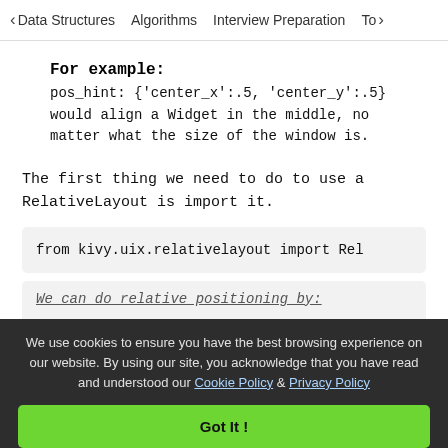< Data Structures   Algorithms   Interview Preparation   To>
For example:
pos_hint: {'center_x':.5, 'center_y':.5} would align a Widget in the middle, no matter what the size of the window is.
The first thing we need to do to use a RelativeLayout is import it.
from kivy.uix.relativelayout import Rel
We can do relative positioning by:
We use cookies to ensure you have the best browsing experience on our website. By using our site, you acknowledge that you have read and understood our Cookie Policy & Privacy Policy
Got It !